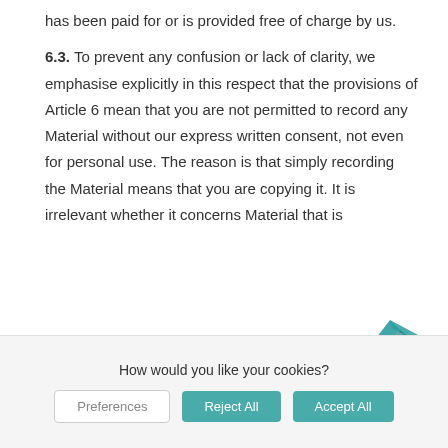has been paid for or is provided free of charge by us.
6.3. To prevent any confusion or lack of clarity, we emphasise explicitly in this respect that the provisions of Article 6 mean that you are not permitted to record any Material without our express written consent, not even for personal use. The reason is that simply recording the Material means that you are copying it. It is irrelevant whether it concerns Material that is
[Figure (logo): Teal/dark teal stylized bird or arrow logo mark]
How would you like your cookies?
Preferences  Reject All  Accept All